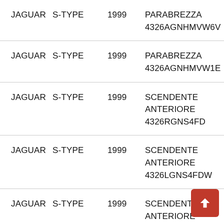| JAGUAR | S-TYPE | 1999 | PARABREZZA
4326AGNHMVW6V |
| JAGUAR | S-TYPE | 1999 | PARABREZZA
4326AGNHMVW1E |
| JAGUAR | S-TYPE | 1999 | SCENDENTE
ANTERIORE
4326RGNS4FD |
| JAGUAR | S-TYPE | 1999 | SCENDENTE
ANTERIORE
4326LGNS4FDW |
| JAGUAR | S-TYPE | 1999 | SCENDENTE
ANTERIORE
... |